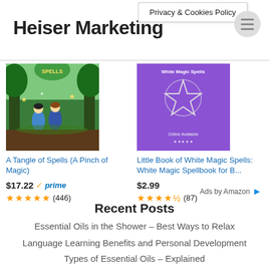Heiser Marketing
Privacy & Cookies Policy
[Figure (illustration): Book cover: A Tangle of Spells (A Pinch of Magic) — illustrated children's book with two girls in a forest]
[Figure (illustration): Book cover: Little Book of White Magic Spells — purple cover with a pentagram star]
A Tangle of Spells (A Pinch of Magic)
$17.22 prime (446 reviews, ~5 stars)
Little Book of White Magic Spells: White Magic Spellbook for B...
$2.99 (87 reviews, ~4.5 stars)
Ads by Amazon
Recent Posts
Essential Oils in the Shower – Best Ways to Relax
Language Learning Benefits and Personal Development
Types of Essential Oils – Explained
Common Electrical Problems Every Homeowner Should Know